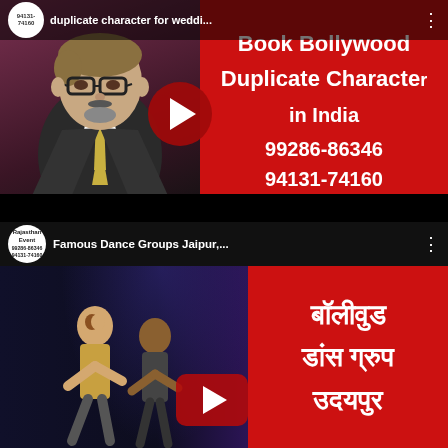[Figure (screenshot): YouTube video thumbnail showing a Bollywood celebrity lookalike (duplicate character) wearing a suit and glasses, with a red overlay panel showing text: 'Book Bollywood Duplicate Character in India 99286-86346 94131-74160'. Channel badge shows 'Rajasthan Event 94131-74160'. Top bar shows title partially: 'duplicate character for weddi...']
[Figure (screenshot): YouTube video thumbnail showing Bollywood dance group performers on stage with purple/blue lighting. Red overlay panel shows Hindi text: 'बॉलीवुड डांस ग्रुप उदयपुर'. Top bar shows channel 'Rajasthan Event 99286-86346 94131-74160' and title 'Famous Dance Groups Jaipur,...']